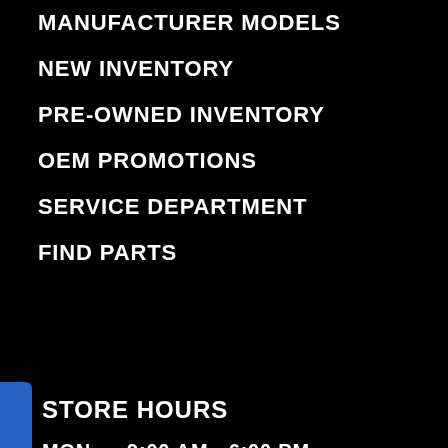MANUFACTURER MODELS
NEW INVENTORY
PRE-OWNED INVENTORY
OEM PROMOTIONS
SERVICE DEPARTMENT
FIND PARTS
STORE HOURS
| Day | Hours |
| --- | --- |
| MON | 9:00 AM - 6:00 PM |
| TUE | 9:00 AM - 6:00 PM |
| WED | 9:00 AM - 6:00 PM |
| THU | 9:00 AM - 6:00 PM |
| FRI | 9:00 AM - 6:00 PM |
| SAT | 9:00 AM - 5:00 PM |
| SUN | CLOSED |